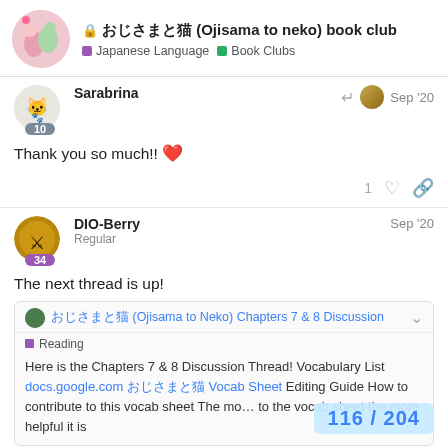おじさまと猫 (Ojisama to neko) book club | Japanese Language | Book Clubs
Sarabrina Sep '20
Thank you so much!! ❤
DIO-Berry Regular Sep '20
The next thread is up!
おじさまと猫 (Ojisama to Neko) Chapters 7 & 8 Discussion | Reading
Here is the Chapters 7 & 8 Discussion Thread! Vocabulary List docs.google.com おじさまと猫 Vocab Sheet Editing Guide How to contribute to this vocab sheet The mo... to the vocab sheet the more helpful it is
116 / 204